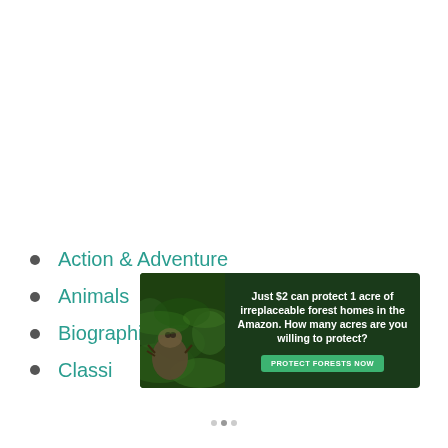Action & Adventure
Animals
Biographies
Classics (partially visible)
[Figure (other): Advertisement banner for Amazon forest conservation. Text reads: Just $2 can protect 1 acre of irreplaceable forest homes in the Amazon. How many acres are you willing to protect? Button: PROTECT FORESTS NOW. Features image of a sloth in a forest background.]